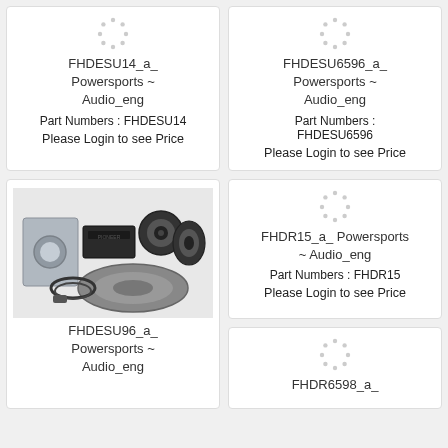[Figure (photo): Loading spinner dots placeholder for product image]
FHDESU14_a_ Powersports ~ Audio_eng
Part Numbers : FHDESU14
Please Login to see Price
[Figure (photo): Loading spinner dots placeholder for product image]
FHDESU6596_a_ Powersports ~ Audio_eng
Part Numbers : FHDESU6596
Please Login to see Price
[Figure (photo): Photo of Powersports audio kit with brackets, amplifier, speakers and cables]
FHDESU96_a_ Powersports ~ Audio_eng
[Figure (photo): Loading spinner dots placeholder for product image]
FHDR15_a_ Powersports ~ Audio_eng
Part Numbers : FHDR15
Please Login to see Price
[Figure (photo): Loading spinner dots placeholder for product image]
FHDR6598_a_